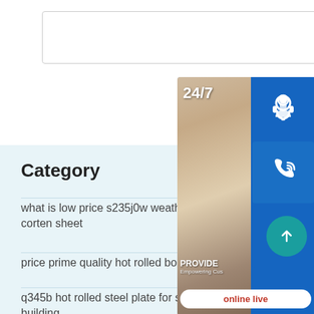[Figure (screenshot): Text area input box (empty)]
POST A COMMENT
Category
what is low price s235j0w weathering corten sheet
price prime quality hot rolled boiler
q345b hot rolled steel plate for ship building
[Figure (infographic): 24/7 customer support banner with headset icon, phone icon, Skype icon, and 'online live' button]